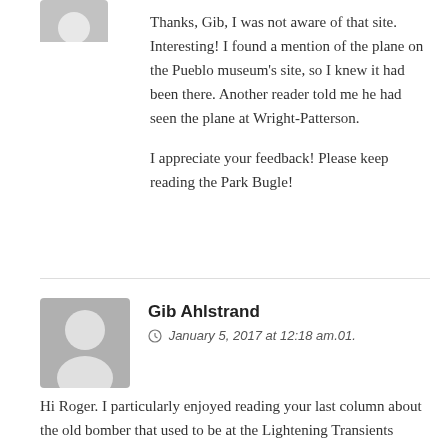[Figure (illustration): Grey avatar/user icon placeholder at top left]
Thanks, Gib, I was not aware of that site. Interesting! I found a mention of the plane on the Pueblo museum's site, so I knew it had been there. Another reader told me he had seen the plane at Wright-Patterson.

I appreciate your feedback! Please keep reading the Park Bugle!
[Figure (illustration): Grey avatar/user icon placeholder for Gib Ahlstrand]
Gib Ahlstrand
January 5, 2017 at 12:18 am.01.
Hi Roger. I particularly enjoyed reading your last column about the old bomber that used to be at the Lightening Transients research station. I remember the plane and that station very well, even took some pix of all